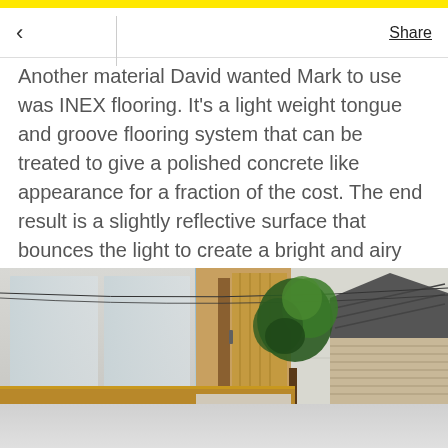< Share
Another material David wanted Mark to use was INEX flooring. It's a light weight tongue and groove flooring system that can be treated to give a polished concrete like appearance for a fraction of the cost. The end result is a slightly reflective surface that bounces the light to create a bright and airy space.
[Figure (photo): Exterior view of a modern house with white panel cladding, timber framing around entrance door, a young tree/plant in the foreground, and a neighbouring house visible to the right under a blue sky.]